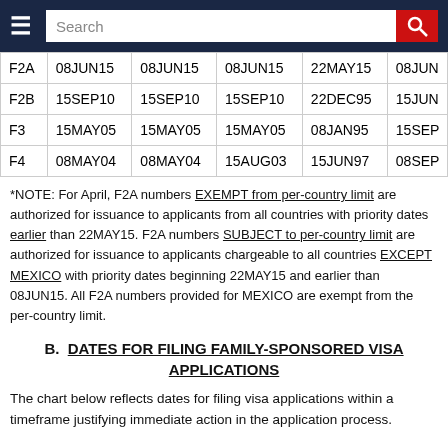Navigation bar with hamburger menu and search
| Category | All Chargeability Areas Except Those Listed | CHINA-mainland born | INDIA | MEXICO | PHILIPPINES |
| --- | --- | --- | --- | --- | --- |
| F2A | 08JUN15 | 08JUN15 | 08JUN15 | 22MAY15 | 08JUN... |
| F2B | 15SEP10 | 15SEP10 | 15SEP10 | 22DEC95 | 15JUN... |
| F3 | 15MAY05 | 15MAY05 | 15MAY05 | 08JAN95 | 15SEP... |
| F4 | 08MAY04 | 08MAY04 | 15AUG03 | 15JUN97 | 08SEP... |
*NOTE: For April, F2A numbers EXEMPT from per-country limit are authorized for issuance to applicants from all countries with priority dates earlier than 22MAY15. F2A numbers SUBJECT to per-country limit are authorized for issuance to applicants chargeable to all countries EXCEPT MEXICO with priority dates beginning 22MAY15 and earlier than 08JUN15. All F2A numbers provided for MEXICO are exempt from the per-country limit.
B.  DATES FOR FILING FAMILY-SPONSORED VISA APPLICATIONS
The chart below reflects dates for filing visa applications within a timeframe justifying immediate action in the application process.